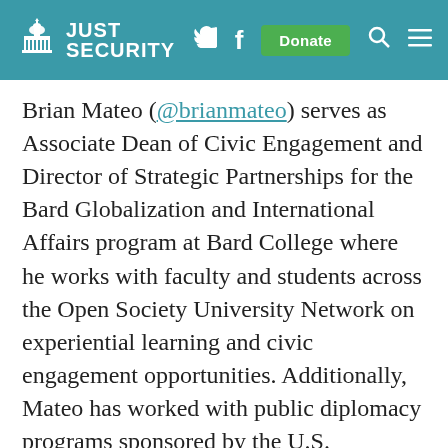[Figure (logo): Just Security website header with logo (capitol building icon and 'JUST SECURITY' text), social media icons (Twitter bird, Facebook f), a green Donate button, search icon, and hamburger menu on a teal background.]
Brian Mateo (@brianmateo) serves as Associate Dean of Civic Engagement and Director of Strategic Partnerships for the Bard Globalization and International Affairs program at Bard College where he works with faculty and students across the Open Society University Network on experiential learning and civic engagement opportunities. Additionally, Mateo has worked with public diplomacy programs sponsored by the U.S. Department of State Bureau of Educational and Cultural Affairs on U.S. foreign policy as well as civic engagement and has cultivated a